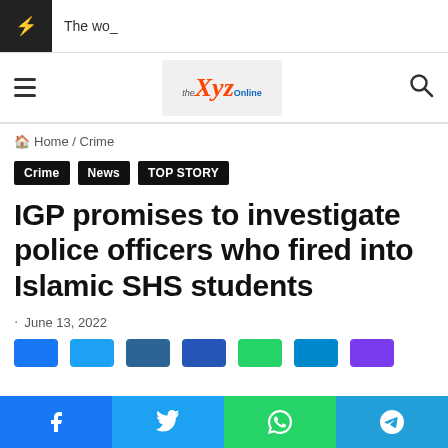The wo_
[Figure (logo): XYZ Online news website logo with hamburger menu and search icon]
Home / Crime
Crime
News
TOP STORY
IGP promises to investigate police officers who fired into Islamic SHS students
June 13, 2022
Share buttons: Facebook, Twitter, WhatsApp, Telegram